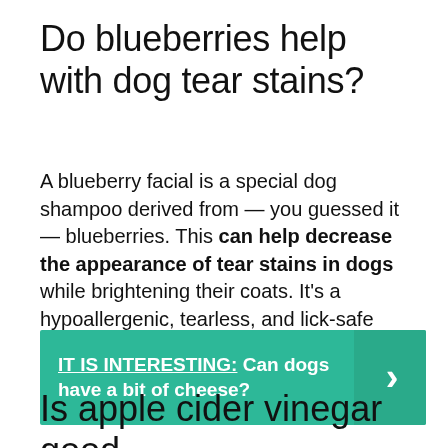Do blueberries help with dog tear stains?
A blueberry facial is a special dog shampoo derived from — you guessed it — blueberries. This can help decrease the appearance of tear stains in dogs while brightening their coats. It’s a hypoallergenic, tearless, and lick-safe option that naturally exfoliates as it cleans and hydrates.
IT IS INTERESTING: Can dogs have a bit of cheese?
Is apple cider vinegar good for dogs?